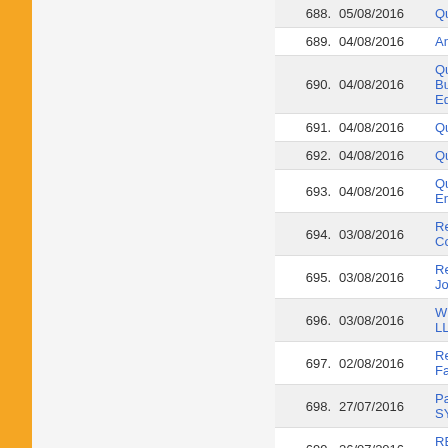| No. | Date | Link |
| --- | --- | --- |
| 688. | 05/08/2016 | Question Bo... |
| 689. | 04/08/2016 | Answer Key... |
| 690. | 04/08/2016 | Question Bo... Business Ma... Education, L... |
| 691. | 04/08/2016 | Question Bo... |
| 692. | 04/08/2016 | Question Bo... |
| 693. | 04/08/2016 | Question Bo... Engineering)... |
| 694. | 03/08/2016 | Re-Examina... Courses) Jo... |
| 695. | 03/08/2016 | Re-Examina... Journalism-A... |
| 696. | 03/08/2016 | WITHDRAW... LL.M.-2nd S... |
| 697. | 02/08/2016 | Re-Examina... Family Law (... |
| 698. | 27/07/2016 | Paragraph 9... SYNDICATE... |
| 699. | 26/07/2016 | RE-EXAMIN... Special-clas... |